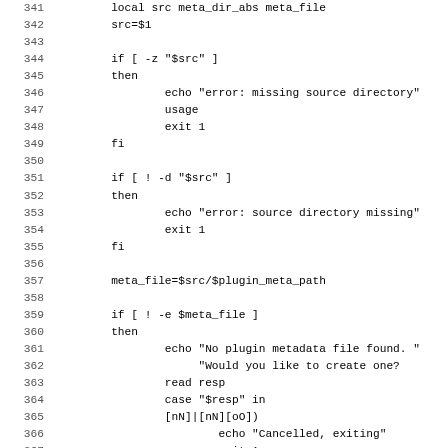Shell script code listing, lines 341-372, showing bash function with source directory validation and plugin metadata file handling logic.